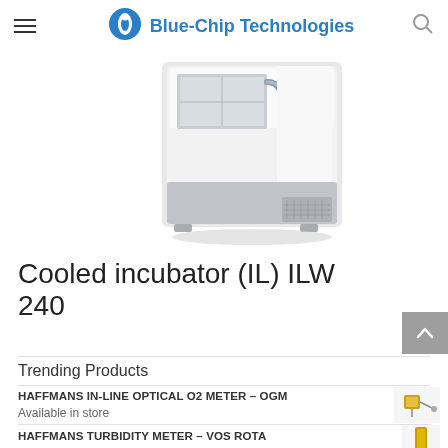Blue-Chip Technologies
[Figure (photo): Cooled incubator (IL) ILW 240 product photo — a white and grey laboratory incubator cabinet, top corner view showing ventilation grille and door.]
Cooled incubator (IL) ILW 240
Trending Products
HAFFMANS IN-LINE OPTICAL O2 METER – OGM
Available in store
HAFFMANS TURBIDITY METER – VOS ROTA